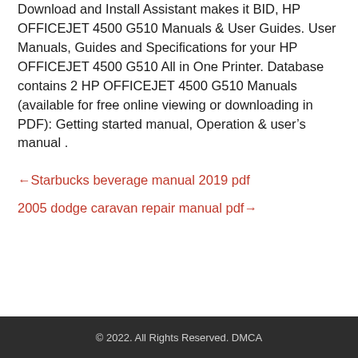Download and Install Assistant makes it BID, HP OFFICEJET 4500 G510 Manuals & User Guides. User Manuals, Guides and Specifications for your HP OFFICEJET 4500 G510 All in One Printer. Database contains 2 HP OFFICEJET 4500 G510 Manuals (available for free online viewing or downloading in PDF): Getting started manual, Operation & user’s manual .
←Starbucks beverage manual 2019 pdf
2005 dodge caravan repair manual pdf→
© 2022. All Rights Reserved. DMCA